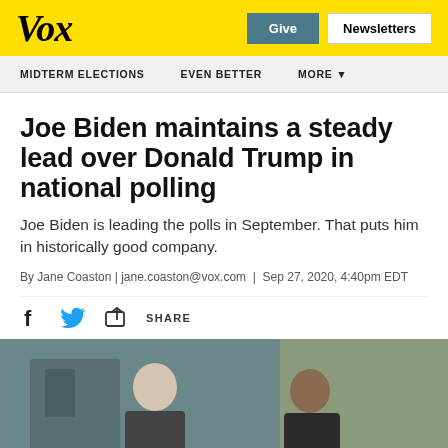Vox | Give | Newsletters
MIDTERM ELECTIONS  EVEN BETTER  MORE
Joe Biden maintains a steady lead over Donald Trump in national polling
Joe Biden is leading the polls in September. That puts him in historically good company.
By Jane Coaston | jane.coaston@vox.com | Sep 27, 2020, 4:40pm EDT
[Figure (photo): Photo of Joe Biden and another person outdoors near a building]